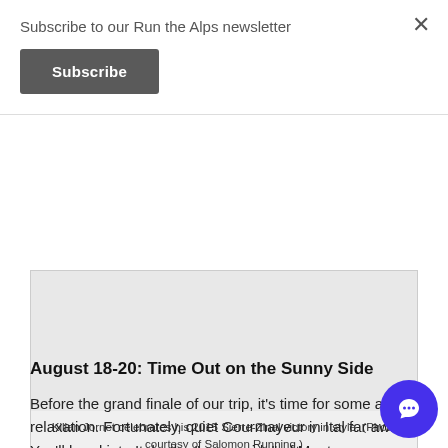Subscribe to our Run the Alps newsletter
Subscribe
[Figure (photo): Image area showing Kilian Jornet celebrating his 2015 Sierre-Zinal victory]
Kilian Jornet celebrates his 2015 Sierre-Zinal victory in style. (Photo courtesy of Salomon Running.)
August 18-20: Time Out on the Sunny Side
Before the grand finale of our trip, it’s time for some and relaxation. Fortunately, quiet Courmayeur in Ital far away. You’ll head into Italy, the “sunny side” of Mont